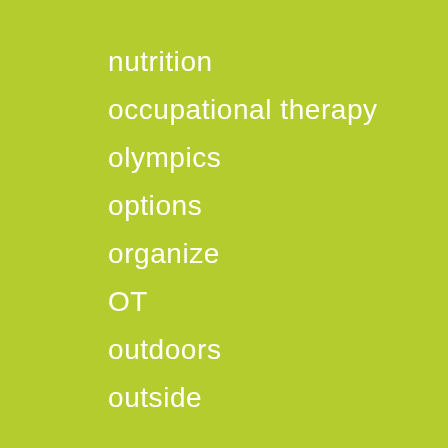nutrition
occupational therapy
olympics
options
organize
OT
outdoors
outside